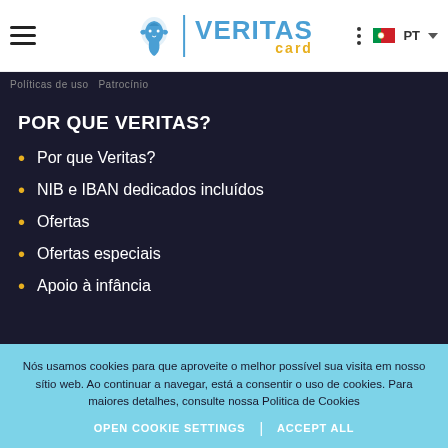VERITAS card
Políticas de uso  Patrocínio
POR QUE VERITAS?
Por que Veritas?
NIB e IBAN dedicados incluídos
Ofertas
Ofertas especiais
Apoio à infância
Nós usamos cookies para que aproveite o melhor possível sua visita em nosso sítio web. Ao continuar a navegar, está a consentir o uso de cookies. Para maiores detalhes, consulte nossa Politica de Cookies
OPEN COOKIE SETTINGS  |  ACCEPT ALL